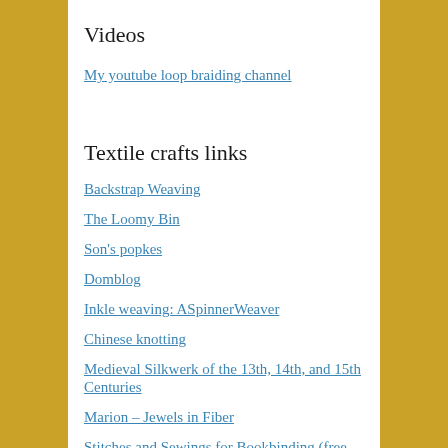Videos
My youtube loop braiding channel
Textile crafts links
Backstrap Weaving
The Loomy Bin
Son's popkes
Domblog
Inkle weaving: ASpinnerWeaver
Chinese knotting
Medieval Silkwerk of the 13th, 14th, and 15th Centuries
Marion – Jewels in Fiber
Stitches and Sewings for Bookbinding (free pdf doc)
Jean Leader's lace (and more) site